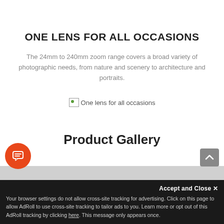ONE LENS FOR ALL OCCASIONS
The 24mm to 240mm zoom range covers a broad variety of photographic needs, from nature and scenery to architecture and portraits.
[Figure (photo): Broken image placeholder with text 'One lens for all occasions']
Product Gallery
Accept and Close ✕
Your browser settings do not allow cross-site tracking for advertising. Click on this page to allow AdRoll to use cross-site tracking to tailor ads to you. Learn more or opt out of this AdRoll tracking by clicking here. This message only appears once.